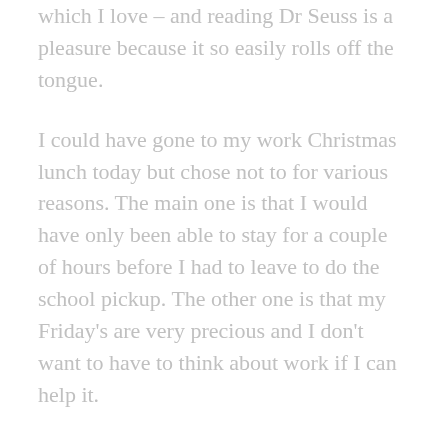which I love – and reading Dr Seuss is a pleasure because it so easily rolls off the tongue.
I could have gone to my work Christmas lunch today but chose not to for various reasons. The main one is that I would have only been able to stay for a couple of hours before I had to leave to do the school pickup. The other one is that my Friday's are very precious and I don't want to have to think about work if I can help it.
Because there's only a couple more Fridays before the school holidays start and then I won't have a Friday to myself until school goes back in January, I made a date with a girlfriend and we went into town to have lunch – which was really breakfast – at the